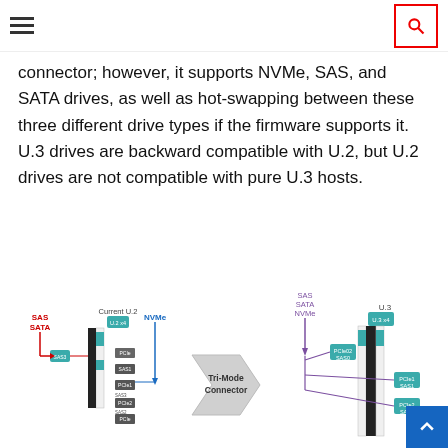Navigation bar with hamburger menu and search icon
connector; however, it supports NVMe, SAS, and SATA drives, as well as hot-swapping between these three different drive types if the firmware supports it. U.3 drives are backward compatible with U.2, but U.2 drives are not compatible with pure U.3 hosts.
[Figure (engineering-diagram): Diagram comparing Current U.2 connector and U.3 Tri-Mode Connector, showing SAS/SATA and NVMe signal paths on the left (U.2) and SAS/SATA/NVMe combined paths on the right (U.3), connected by a large arrow labeled 'Tri-Mode Connector'.]